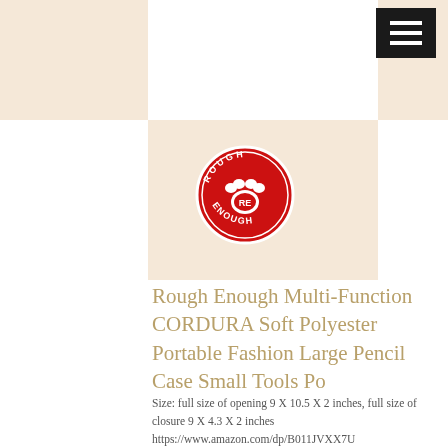[Figure (logo): Rough Enough brand circular logo with red background, bear paw print and 'RE' text in center, white text reading 'ROUGH ENOUGH' around the circle]
Rough Enough Multi-Function CORDURA Soft Polyester Portable Fashion Large Pencil Case Small Tools Po
Size: full size of opening 9 X 10.5 X 2 inches, full size of closure 9 X 4.3 X 2 inches
https://www.amazon.com/dp/B011JVXX7U